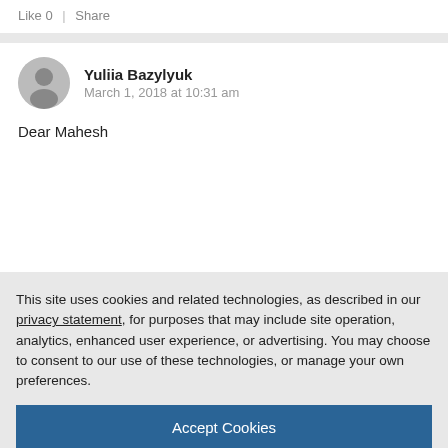Like 0  |  Share
Yuliia Bazylyuk
March 1, 2018 at 10:31 am
Dear Mahesh
This site uses cookies and related technologies, as described in our privacy statement, for purposes that may include site operation, analytics, enhanced user experience, or advertising. You may choose to consent to our use of these technologies, or manage your own preferences.
Accept Cookies
More Information
Privacy Policy | Powered by: TrustArc
| Add On ID | Source Release | Target Release | Status | Note |
| --- | --- | --- | --- | --- |